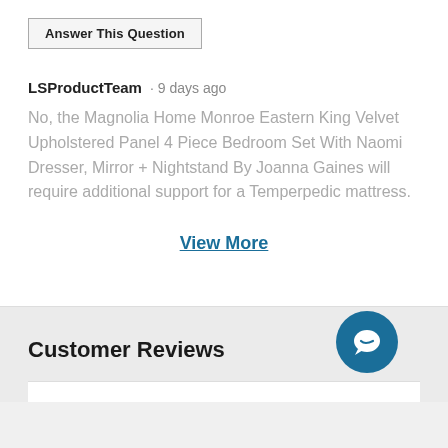Answer This Question
LSProductTeam · 9 days ago
No, the Magnolia Home Monroe Eastern King Velvet Upholstered Panel 4 Piece Bedroom Set With Naomi Dresser, Mirror + Nightstand By Joanna Gaines will require additional support for a Temperpedic mattress.
View More
Customer Reviews